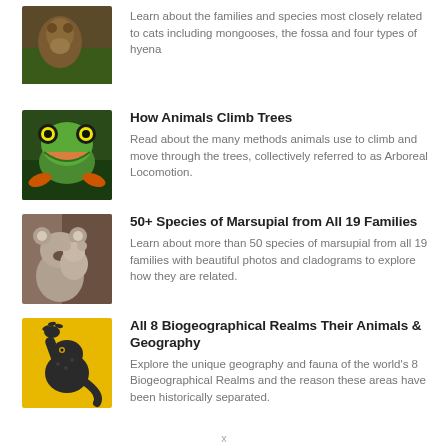Learn about the families and species most closely related to cats including mongooses, the fossa and four types of hyena
How Animals Climb Trees
Read about the many methods animals use to climb and move through the trees, collectively referred to as Arboreal Locomotion.
50+ Species of Marsupial from All 19 Families
Learn about more than 50 species of marsupial from all 19 families with beautiful photos and cladograms to explore how they are related.
All 8 Biogeographical Realms Their Animals & Geography
Explore the unique geography and fauna of the world's 8 Biogeographical Realms and the reason these areas have been historically separated.
x